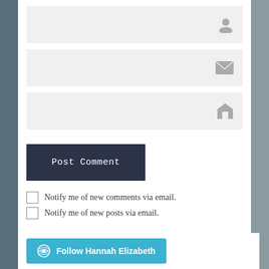[Figure (screenshot): Name input field with user icon]
[Figure (screenshot): Email input field with envelope icon]
[Figure (screenshot): Website input field with home icon]
Post Comment
Notify me of new comments via email.
Notify me of new posts via email.
Follow Hannah Elizabeth